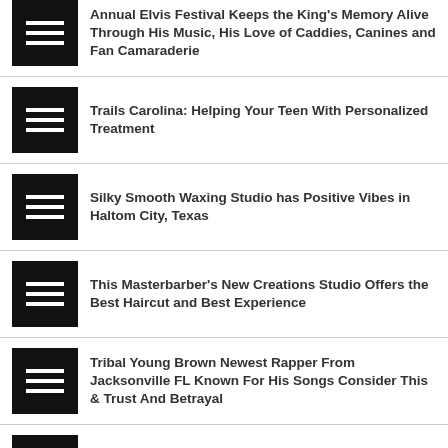Annual Elvis Festival Keeps the King's Memory Alive Through His Music, His Love of Caddies, Canines and Fan Camaraderie
Trails Carolina: Helping Your Teen With Personalized Treatment
Silky Smooth Waxing Studio has Positive Vibes in Haltom City, Texas
This Masterbarber's New Creations Studio Offers the Best Haircut and Best Experience
Tribal Young Brown Newest Rapper From Jacksonville FL Known For His Songs Consider This & Trust And Betrayal
What next for ecommerce master Rajesh